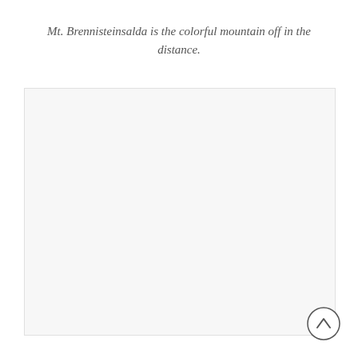Mt. Brennisteinsalda is the colorful mountain off in the distance.
[Figure (photo): Placeholder image area with light gray background representing a photo of Mt. Brennisteinsalda]